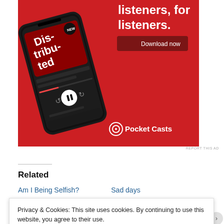[Figure (illustration): Pocket Casts podcast app advertisement on red background, showing a smartphone with the app open displaying 'Distributed' podcast, with text 'listeners, for listeners.' and a 'Download now' button, Pocket Casts logo at bottom right.]
REPORT THIS AD
Related
Am I Being Selfish?	Sad days
Privacy & Cookies: This site uses cookies. By continuing to use this website, you agree to their use.
To find out more, including how to control cookies, see here: Cookie Policy
Close and accept